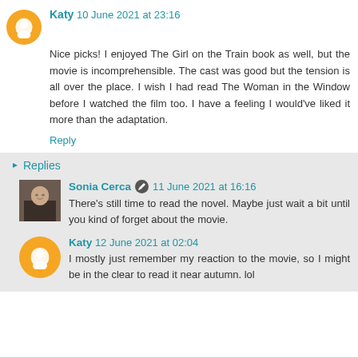Katy 10 June 2021 at 23:16
Nice picks! I enjoyed The Girl on the Train book as well, but the movie is incomprehensible. The cast was good but the tension is all over the place. I wish I had read The Woman in the Window before I watched the film too. I have a feeling I would've liked it more than the adaptation.
Reply
Replies
Sonia Cerca 11 June 2021 at 16:16
There's still time to read the novel. Maybe just wait a bit until you kind of forget about the movie.
Katy 12 June 2021 at 02:04
I mostly just remember my reaction to the movie, so I might be in the clear to read it near autumn. lol